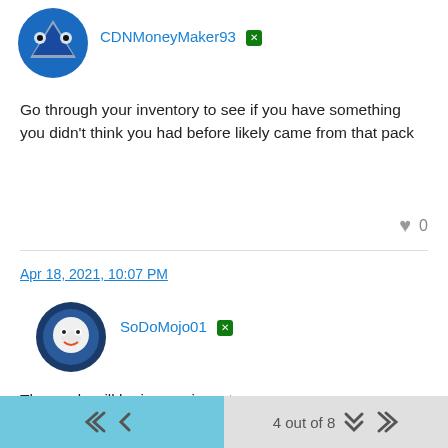[Figure (illustration): Circular avatar with blue background and stylized shark/logo design for user CDNMoneyMaker93]
CDNMoneyMaker93 [Xbox icon]
Go through your inventory to see if you have something you didn't think you had before likely came from that pack
0
Apr 18, 2021, 10:07 PM
[Figure (illustration): Circular avatar with dark blue border and cartoon baseball character for user SoDoMojo01]
SoDoMojo01 [Xbox icon]
The cards will be in your inventory
0
4 out of 8